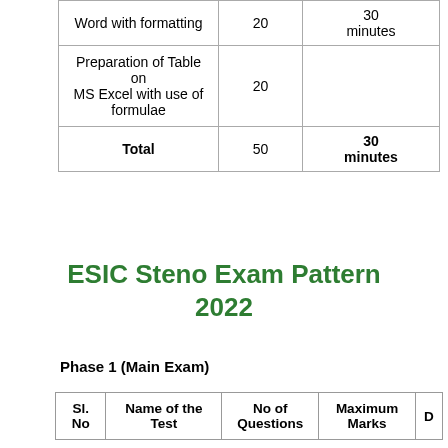|  |  |  |
| --- | --- | --- |
| Word with formatting | 20 | 30 minutes |
| Preparation of Table on MS Excel with use of formulae | 20 |  |
| Total | 50 | 30 minutes |
ESIC Steno Exam Pattern 2022
Phase 1 (Main Exam)
| Sl. No | Name of the Test | No of Questions | Maximum Marks | D |
| --- | --- | --- | --- | --- |